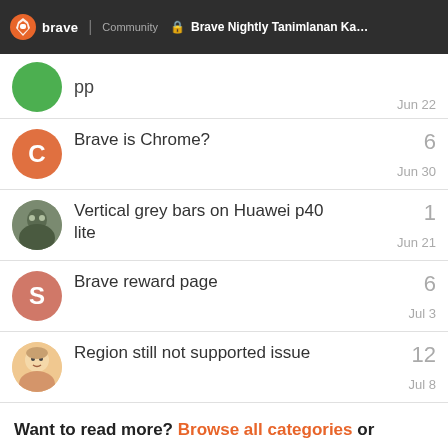Brave Community | Brave Nightly Tanimlanan Kanallan (...
pp — Jun 22
Brave is Chrome? — 6 — Jun 30
Vertical grey bars on Huawei p40 lite — 1 — Jun 21
Brave reward page — 6 — Jul 3
Region still not supported issue — 12 — Jul 8
Want to read more? Browse all categories or view latest topics.